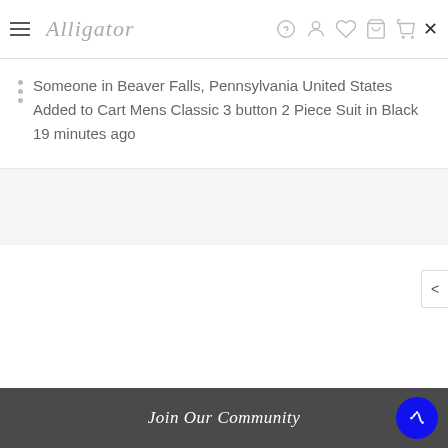Alligator [logo with navigation icons]
Someone in Beaver Falls, Pennsylvania United States
Added to Cart Mens Classic 3 button 2 Piece Suit in Black
19 minutes ago
Join Our Community